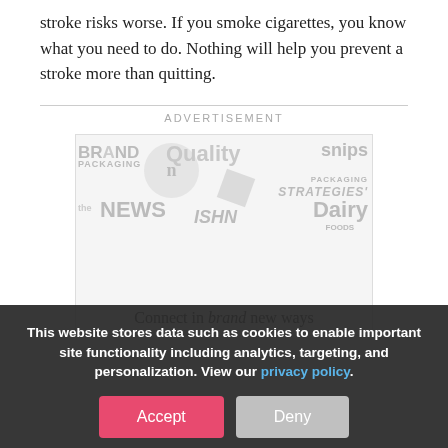stroke risks worse. If you smoke cigarettes, you know what you need to do. Nothing will help you prevent a stroke more than quitting.
ADVERTISEMENT
[Figure (other): Advertisement image showing various publication logos including BRAND PACKAGING, Quality, snips, PACKAGING STRATEGIES, the NEWS, ISHN, Dairy Foods, and the text 'Connect in brand new ways']
This website stores data such as cookies to enable important site functionality including analytics, targeting, and personalization. View our privacy policy.